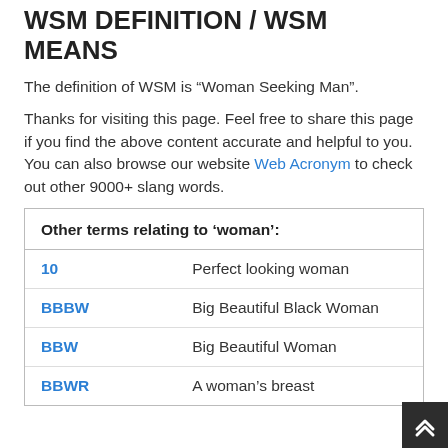WSM DEFINITION / WSM MEANS
The definition of WSM is “Woman Seeking Man”.
Thanks for visiting this page. Feel free to share this page if you find the above content accurate and helpful to you. You can also browse our website Web Acronym to check out other 9000+ slang words.
| Term | Definition |
| --- | --- |
| 10 | Perfect looking woman |
| BBBW | Big Beautiful Black Woman |
| BBW | Big Beautiful Woman |
| BBWR | A woman's breast |